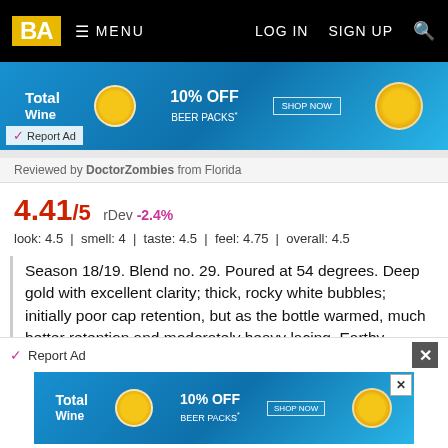BA  ≡ MENU   LOG IN   SIGN UP   🔍
[Figure (other): Total Wine advertisement banner — 10% OFF BEER PACKS]
Reviewed by DoctorZombies from Florida
4.41/5  rDev -2.4%
look: 4.5 | smell: 4 | taste: 4.5 | feel: 4.75 | overall: 4.5
Season 18/19. Blend no. 29. Poured at 54 degrees. Deep gold with excellent clarity; thick, rocky white bubbles; initially poor cap retention, but as the bottle warmed, much better retention and moderately heavy lacing. Earthy raspberry aroma, with light barnyard funk; some aged cheese; fresh baled hay. Taste is raspberry, sour fruit, tart green apples and some funky hay. Light carbonation; light body, but not watery; dry, light acidi feel: minor pucker. Overall very pleasant to drink but n
[Figure (other): Total Wine advertisement banner — 10% OFF BEER PACKS (bottom)]